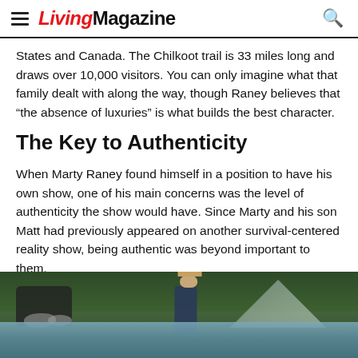LivingMagazine
States and Canada. The Chilkoot trail is 33 miles long and draws over 10,000 visitors. You can only imagine what that family dealt with along the way, though Raney believes that “the absence of luxuries” is what builds the best character.
The Key to Authenticity
When Marty Raney found himself in a position to have his own show, one of his main concerns was the level of authenticity the show would have. Since Marty and his son Matt had previously appeared on another survival-centered reality show, being authentic was beyond important to them.
[Figure (photo): Outdoor scene showing a man near a rocky river with equipment in the foreground, mountains and trees in the background]